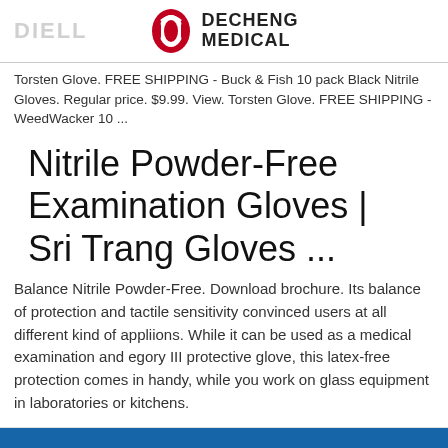DECHENG MEDICAL
Torsten Glove. FREE SHIPPING - Buck & Fish 10 pack Black Nitrile Gloves. Regular price. $9.99. View. Torsten Glove. FREE SHIPPING - WeedWacker 10 ...
Nitrile Powder-Free Examination Gloves | Sri Trang Gloves ...
Balance Nitrile Powder-Free. Download brochure. Its balance of protection and tactile sensitivity convinced users at all different kind of appliions. While it can be used as a medical examination and egory III protective glove, this latex-free protection comes in handy, while you work on glass equipment in laboratories or kitchens.
[Figure (other): Blue background section with a green 'Request for Quote' button in the bottom right corner]